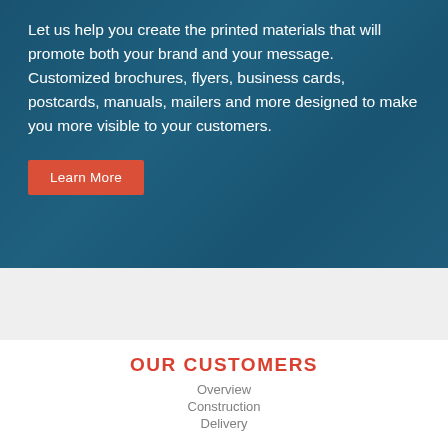[Figure (photo): Hero section with teal/blue overlay showing people in business attire, likely reviewing printed materials]
Let us help you create the printed materials that will promote both your brand and your message. Customized brochures, flyers, business cards, postcards, manuals, mailers and more designed to make you more visible to your customers.
Learn More
OUR CUSTOMERS
Overview
Construction
Delivery